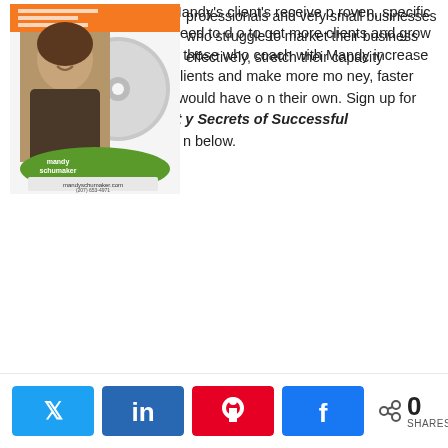[Figure (photo): Book/CD cover for Mandy Schumaker with photo of a woman and orange/green branding elements showing mandyschumaker.com and phone number (207) 653-4971]
professionals and very small businesses who struggle to market their business effectively, stretch their capacity and play a bigger game. Mandy's client's receive proven, specific information on what they need to do to get more clients and grow their business. As a result, those who coach with Mandy increase their business, get more clients and make more money, faster and easier than they ever would have on their own. Sign up for her free Cd "7 Productivity Secrets of Successful Entrepreneurs" right down below.
[Figure (infographic): Social sharing bar with Twitter, LinkedIn, Pinterest, Facebook buttons and a share count showing 0 SHARES]